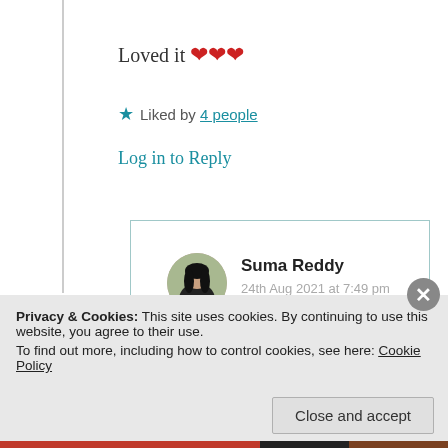Loved it ❤❤❤
★ Liked by 4 people
Log in to Reply
Suma Reddy
24th Aug 2021 at 7:49 pm
[Figure (photo): Round avatar photo of Suma Reddy, a woman with dark hair]
Gladly, thank you so much 😍❤
Privacy & Cookies: This site uses cookies. By continuing to use this website, you agree to their use.
To find out more, including how to control cookies, see here: Cookie Policy
Close and accept